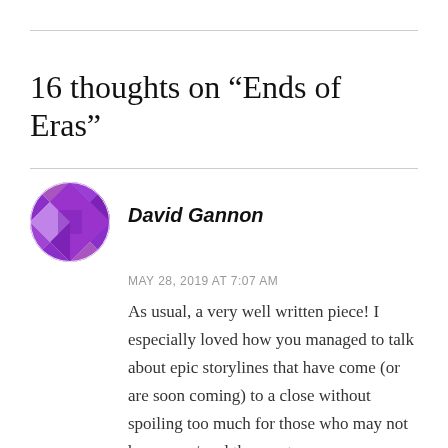16 thoughts on “Ends of Eras”
[Figure (illustration): Purple geometric/quilt-pattern avatar icon for user David Gannon]
David Gannon
MAY 28, 2019 AT 7:07 AM
As usual, a very well written piece! I especially loved how you managed to talk about epic storylines that have come (or are soon coming) to a close without spoiling too much for those who may not have seen/read them yet.